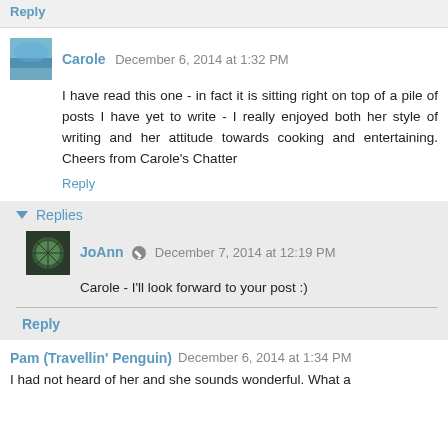Reply
Carole  December 6, 2014 at 1:32 PM
I have read this one - in fact it is sitting right on top of a pile of posts I have yet to write - I really enjoyed both her style of writing and her attitude towards cooking and entertaining. Cheers from Carole's Chatter
Reply
Replies
JoAnn  December 7, 2014 at 12:19 PM
Carole - I'll look forward to your post :)
Reply
Pam (Travellin' Penguin)  December 6, 2014 at 1:34 PM
I had not heard of her and she sounds wonderful. What a